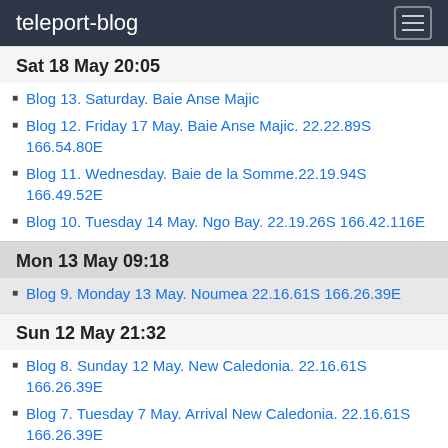teleport-blog
Sat 18 May 20:05
Blog 13. Saturday. Baie Anse Majic
Blog 12. Friday 17 May. Baie Anse Majic. 22.22.89S 166.54.80E
Blog 11. Wednesday. Baie de la Somme.22.19.94S 166.49.52E
Blog 10. Tuesday 14 May. Ngo Bay. 22.19.26S 166.42.116E
Mon 13 May 09:18
Blog 9. Monday 13 May. Noumea 22.16.61S 166.26.39E
Sun 12 May 21:32
Blog 8. Sunday 12 May. New Caledonia. 22.16.61S 166.26.39E
Blog 7. Tuesday 7 May. Arrival New Caledonia. 22.16.61S 166.26.39E
Tue 7 May 06:56
Blog 6. 29.54.51S 172.16.53E 569nm from New Caledonia
Wed 1 May 23:58
Blog 5. 35.14.94S 174.06.417E
Apr 2019